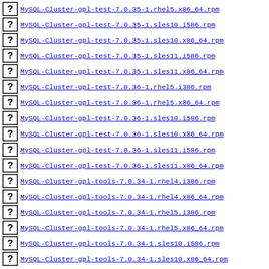MySQL-Cluster-gpl-test-7.0.35-1.rhel5.x86_64.rpm
MySQL-Cluster-gpl-test-7.0.35-1.sles10.i586.rpm
MySQL-Cluster-gpl-test-7.0.35-1.sles10.x86_64.rpm
MySQL-Cluster-gpl-test-7.0.35-1.sles11.i586.rpm
MySQL-Cluster-gpl-test-7.0.35-1.sles11.x86_64.rpm
MySQL-Cluster-gpl-test-7.0.36-1.rhel5.i386.rpm
MySQL-Cluster-gpl-test-7.0.36-1.rhel5.x86_64.rpm
MySQL-Cluster-gpl-test-7.0.36-1.sles10.i586.rpm
MySQL-Cluster-gpl-test-7.0.36-1.sles10.x86_64.rpm
MySQL-Cluster-gpl-test-7.0.36-1.sles11.i586.rpm
MySQL-Cluster-gpl-test-7.0.36-1.sles11.x86_64.rpm
MySQL-Cluster-gpl-tools-7.0.34-1.rhel4.i386.rpm
MySQL-Cluster-gpl-tools-7.0.34-1.rhel4.x86_64.rpm
MySQL-Cluster-gpl-tools-7.0.34-1.rhel5.i386.rpm
MySQL-Cluster-gpl-tools-7.0.34-1.rhel5.x86_64.rpm
MySQL-Cluster-gpl-tools-7.0.34-1.sles10.i586.rpm
MySQL-Cluster-gpl-tools-7.0.34-1.sles10.x86_64.rpm